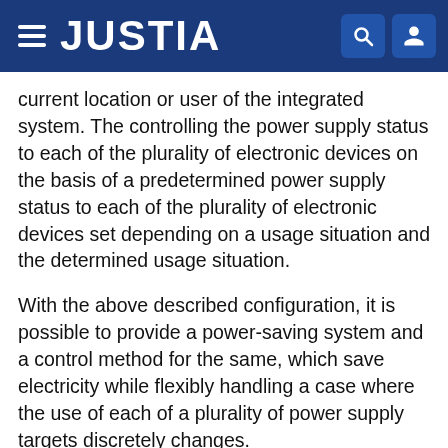JUSTIA
current location or user of the integrated system. The controlling the power supply status to each of the plurality of electronic devices on the basis of a predetermined power supply status to each of the plurality of electronic devices set depending on a usage situation and the determined usage situation.
With the above described configuration, it is possible to provide a power-saving system and a control method for the same, which save electricity while flexibly handling a case where the use of each of a plurality of power supply targets discretely changes.
BRIEF DESCRIPTION OF THE DRAWINGS
The foregoing and further objects, features and advantages of the invention will become apparent from the following description of preferred embodiments with